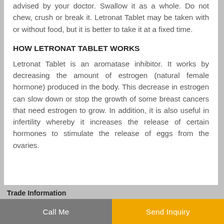advised by your doctor. Swallow it as a whole. Do not chew, crush or break it. Letronat Tablet may be taken with or without food, but it is better to take it at a fixed time.
HOW LETRONAT TABLET WORKS
Letronat Tablet is an aromatase inhibitor. It works by decreasing the amount of estrogen (natural female hormone) produced in the body. This decrease in estrogen can slow down or stop the growth of some breast cancers that need estrogen to grow. In addition, it is also useful in infertility whereby it increases the release of certain hormones to stimulate the release of eggs from the ovaries.
Trade Information